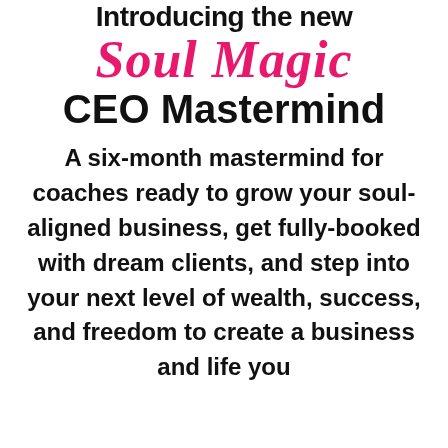Introducing the new Soul Magic CEO Mastermind
A six-month mastermind for coaches ready to grow your soul-aligned business, get fully-booked with dream clients, and step into your next level of wealth, success, and freedom to create a business and life you